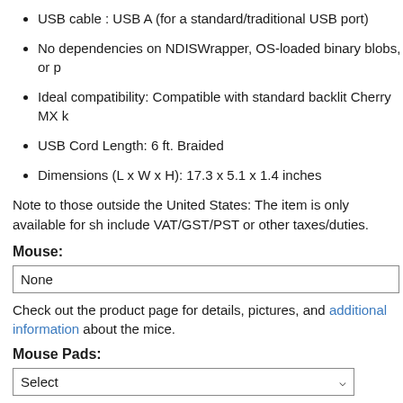USB cable : USB A (for a standard/traditional USB port)
No dependencies on NDISWrapper, OS-loaded binary blobs, or p
Ideal compatibility: Compatible with standard backlit Cherry MX k
USB Cord Length: 6 ft. Braided
Dimensions (L x W x H): 17.3 x 5.1 x 1.4 inches
Note to those outside the United States: The item is only available for sh include VAT/GST/PST or other taxes/duties.
Mouse:
None
Check out the product page for details, pictures, and additional information about the mice.
Mouse Pads:
Select
Select one of our awesome mouse pads. Check out the great pictures in our catalog
Quantity: *